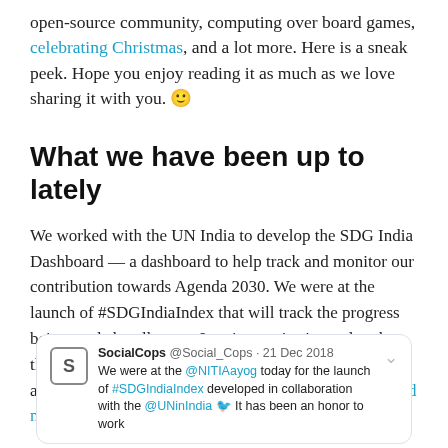open-source community, computing over board games, celebrating Christmas, and a lot more. Here is a sneak peek. Hope you enjoy reading it as much as we love sharing it with you. 🙂
What we have been up to lately
We worked with the UN India to develop the SDG India Dashboard — a dashboard to help track and monitor our contribution towards Agenda 2030. We were at the launch of #SDGIndiaIndex that will track the progress being made by all states & union territories and rank them on 62 national indicators across categories —achievers, front-runners, performers, and aspirants. Read more about our SDG Tracking solution. 🙂
[Figure (screenshot): Embedded tweet from SocialCops @Social_Cops dated 21 Dec 2018 stating: 'We were at the @NITIAayog today for the launch of #SDGIndiaIndex developed in collaboration with the @UNinIndia...']